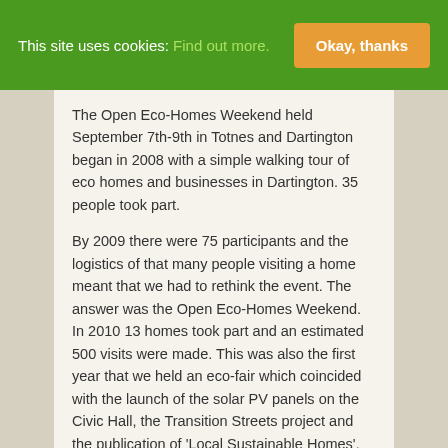This site uses cookies: Find out more.   Okay, thanks
The Open Eco-Homes Weekend held September 7th-9th in Totnes and Dartington began in 2008 with a simple walking tour of eco homes and businesses in Dartington. 35 people took part.
By 2009 there were 75 participants and the logistics of that many people visiting a home meant that we had to rethink the event. The answer was the Open Eco-Homes Weekend. In 2010 13 homes took part and an estimated 500 visits were made. This was also the first year that we held an eco-fair which coincided with the launch of the solar PV panels on the Civic Hall, the Transition Streets project and the publication of 'Local Sustainable Homes', the Transition guide to sustainable housing.
By 2011 19 homes were open for a long weekend and over 20 exhibitors had stalls at an extremely successful Eco-Fair in a packed Civic Hall. Around 1000 visits were made to homes and hundreds of people attended the Eco-Fair. Sponsorship and fees